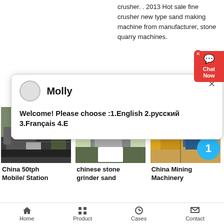crusher. . 2013 Hot sale fine crusher new type sand making machine from manufacturer, stone quarry machines.
[Figure (screenshot): Chat popup overlay with avatar, name 'Molly', and welcome message in English, Russian, and French language options.]
[Figure (photo): Photo of China 50tph Mobile/ Station machinery/equipment at a quarry site.]
[Figure (photo): Photo of chinese stone grinder sand machinery with red structural equipment.]
[Figure (photo): Photo of China Mining Machinery with badge showing number 1.]
China 50tph Mobile/ Station
chinese stone grinder sand
China Mining Machinery
Home   Product   Cases   Contact